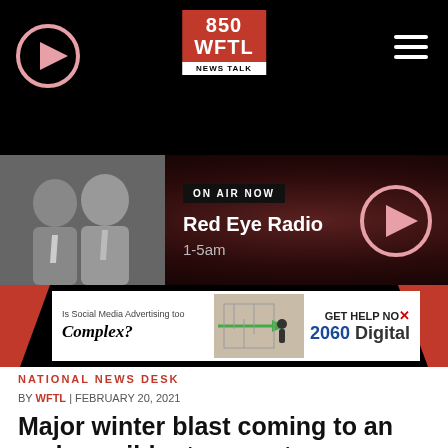[Figure (screenshot): 850 WFTL News Talk radio station mobile app header with play button, logo, and hamburger menu on black background]
[Figure (screenshot): On Air Now banner showing Red Eye Radio 1-5am with two male hosts photos and play button on dark red background]
[Figure (screenshot): Advertisement banner: Is Social Media Advertising too Complex? GET HELP NOW - 2060 Digital]
NATIONAL NEWS DESK
BY WFTL | FEBRUARY 20, 2021
Major winter blast coming to an end as milder temperatures move into South